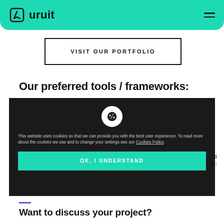uruit
VISIT OUR PORTFOLIO
Our preferred tools / frameworks:
[Figure (screenshot): Cookie consent banner with dark background, cookie icon, text about cookies policy, and OK I UNDERSTAND button in teal.]
Want to discuss your project?